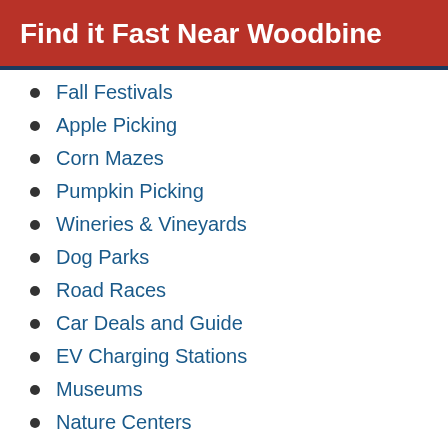Find it Fast Near Woodbine
Fall Festivals
Apple Picking
Corn Mazes
Pumpkin Picking
Wineries & Vineyards
Dog Parks
Road Races
Car Deals and Guide
EV Charging Stations
Museums
Nature Centers